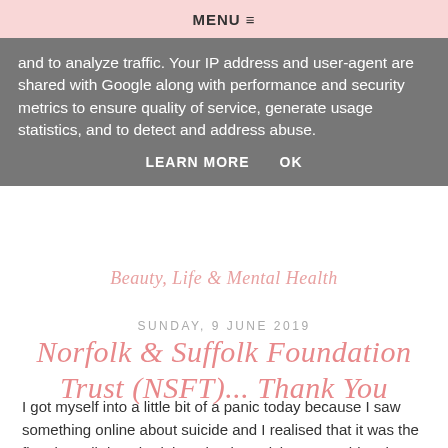MENU ≡
and to analyze traffic. Your IP address and user-agent are shared with Google along with performance and security metrics to ensure quality of service, generate usage statistics, and to detect and address abuse.
LEARN MORE    OK
Beauty, Life & Mental Health
SUNDAY, 9 JUNE 2019
Norfolk & Suffolk Foundation Trust (NSFT)... Thank You
I got myself into a little bit of a panic today because I saw something online about suicide and I realised that it was the first time all day I had thought about dying; something that just a year ago would consume my mind throughout the majority of the day, all day, every day. I thought again and although the thought does appear in my mind every so often, it isn't anything compared to what it used to be and the urges to act on the